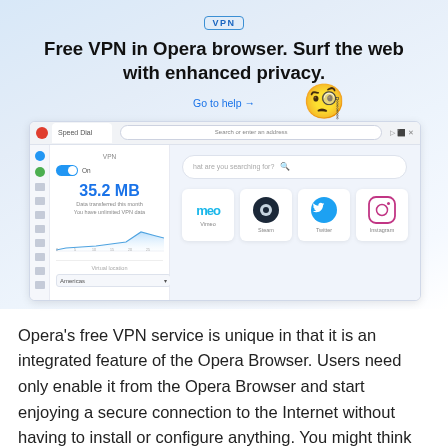VPN
Free VPN in Opera browser. Surf the web with enhanced privacy.
Go to help →
[Figure (screenshot): Opera browser window showing VPN panel with 35.2 MB data transferred, a data usage line chart, location selector, and browser speed dials including Steam, Twitter, and Instagram icons.]
Opera's free VPN service is unique in that it is an integrated feature of the Opera Browser. Users need only enable it from the Opera Browser and start enjoying a secure connection to the Internet without having to install or configure anything. You might think that such a feature is Opera's strategy to increase adoption of their browser, but that's just